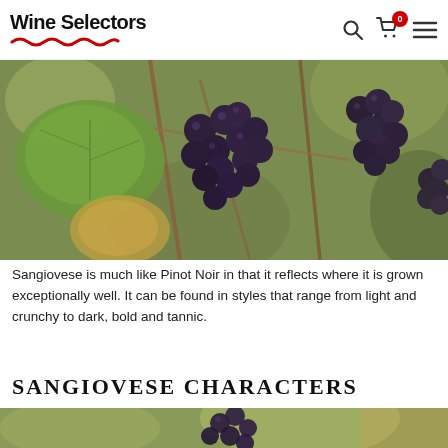Wine Selectors
[Figure (photo): Close-up photograph of dark purple grape bunches hanging on a vine with green leaves, vineyard background]
Sangiovese is much like Pinot Noir in that it reflects where it is grown exceptionally well. It can be found in styles that range from light and crunchy to dark, bold and tannic.
SANGIOVESE CHARACTERS
[Figure (photo): Photograph of dark purple grape bunches in a vineyard with green foliage background, warm sunlight]